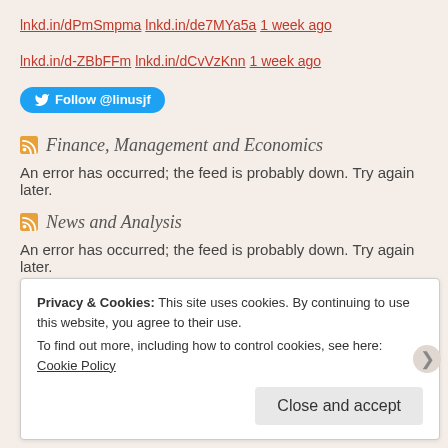lnkd.in/dPmSmpma lnkd.in/de7MYa5a 1 week ago
lnkd.in/d-ZBbFFm lnkd.in/dCvVzKnn 1 week ago
[Figure (other): Twitter Follow button for @linusjf]
Finance, Management and Economics
An error has occurred; the feed is probably down. Try again later.
News and Analysis
An error has occurred; the feed is probably down. Try again later.
Privacy & Cookies: This site uses cookies. By continuing to use this website, you agree to their use. To find out more, including how to control cookies, see here: Cookie Policy